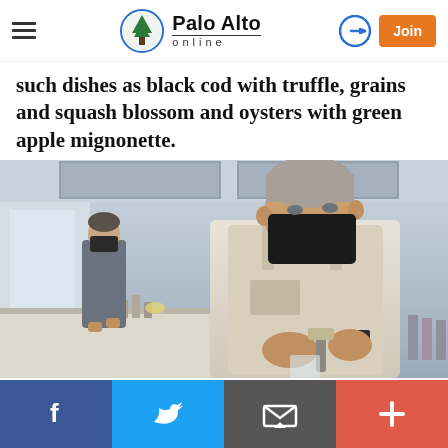Palo Alto online
such dishes as black cod with truffle, grains and squash blossom and oysters with green apple mignonette.
[Figure (photo): Chef in white apron and black mask working at a counter, with another masked person in background in a modern kitchen]
Facebook | Twitter | Email | Plus